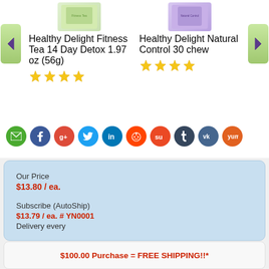Healthy Delight Fitness Tea 14 Day Detox 1.97 oz (56g)
[Figure (other): 4 star rating shown with gold stars]
Healthy Delight Natural Control 30 chew
[Figure (other): 4 star rating shown with gold stars]
[Figure (infographic): Social sharing icons row: email (green), Facebook (blue), Google+ (red), Twitter (light blue), LinkedIn (blue), Reddit (red), StumbleUpon (orange), Tumblr (dark blue), VK (dark blue), Yummly (orange)]
Our Price
$13.80 / ea.
Subscribe (AutoShip)
$13.79 / ea. # YN0001
Delivery every
$100.00 Purchase = FREE SHIPPING!!*